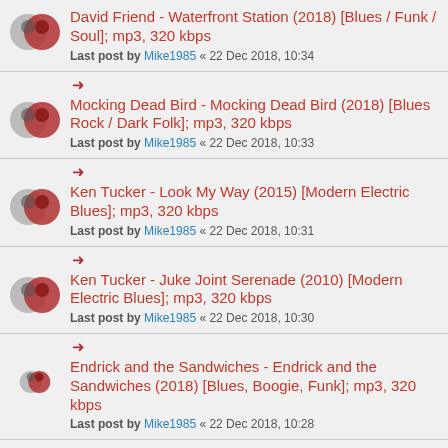David Friend - Waterfront Station (2018) [Blues / Funk / Soul]; mp3, 320 kbps
Last post by Mike1985 « 22 Dec 2018, 10:34
Mocking Dead Bird - Mocking Dead Bird (2018) [Blues Rock / Dark Folk]; mp3, 320 kbps
Last post by Mike1985 « 22 Dec 2018, 10:33
Ken Tucker - Look My Way (2015) [Modern Electric Blues]; mp3, 320 kbps
Last post by Mike1985 « 22 Dec 2018, 10:31
Ken Tucker - Juke Joint Serenade (2010) [Modern Electric Blues]; mp3, 320 kbps
Last post by Mike1985 « 22 Dec 2018, 10:30
Endrick and the Sandwiches - Endrick and the Sandwiches (2018) [Blues, Boogie, Funk]; mp3, 320 kbps
Last post by Mike1985 « 22 Dec 2018, 10:28
The Bluesstarters - Five Dimes (2005) [Rockin' Blues...]